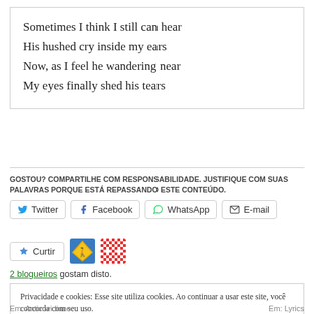Sometimes I think I still can hear
His hushed cry inside my ears
Now, as I feel he wandering near
My eyes finally shed his tears
GOSTOU? COMPARTILHE COM RESPONSABILIDADE. JUSTIFIQUE COM SUAS PALAVRAS PORQUE ESTÁ REPASSANDO ESTE CONTEÚDO.
[Figure (infographic): Share buttons row: Twitter, Facebook, WhatsApp, E-mail]
[Figure (infographic): Like button with star icon, two avatar thumbnails (road sign image, pixel art pattern)]
2 blogueiros gostam disto.
Privacidade e cookies: Esse site utiliza cookies. Ao continuar a usar este site, você concorda com seu uso.
Para saber mais, inclusive sobre como controlar os cookies, consulte aqui:
Política de cookies
Em: Anticovidiano      Em: Lyrics